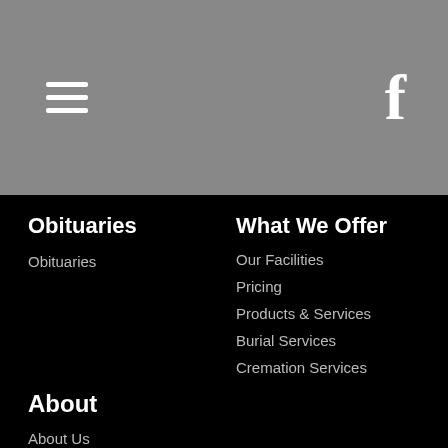≡  f
Obituaries
Obituaries
What We Offer
Our Facilities
Pricing
Products & Services
Burial Services
Cremation Services
Caskets
About
About Us
Our History
Contact/Directions